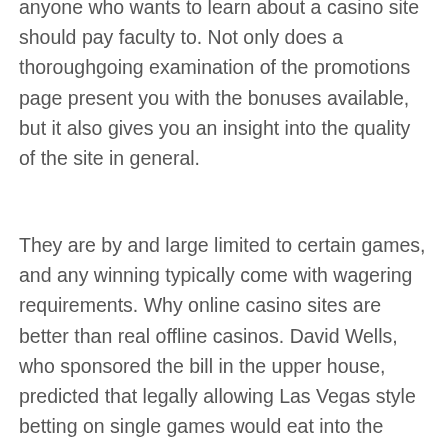anyone who wants to learn about a casino site should pay faculty to. Not only does a thoroughgoing examination of the promotions page present you with the bonuses available, but it also gives you an insight into the quality of the site in general.
They are by and large limited to certain games, and any winning typically come with wagering requirements. Why online casino sites are better than real offline casinos. David Wells, who sponsored the bill in the upper house, predicted that legally allowing Las Vegas style betting on single games would eat into the multibillion dollar black market and direct that revenue into official government coffers. Currently, he told the Senate during final debate last week, “Canadians are placing billions of